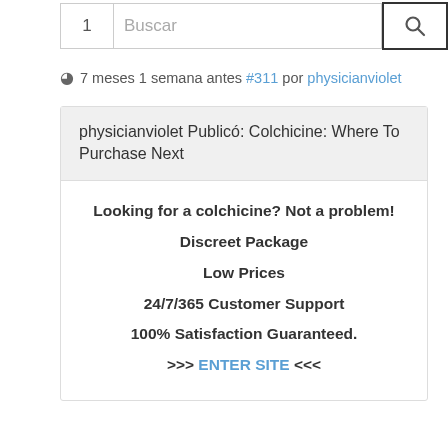[Figure (screenshot): Search bar with number 1, Buscar text input, and search icon button]
7 meses 1 semana antes #311 por physicianviolet
physicianviolet Publicó: Colchicine: Where To Purchase Next
Looking for a colchicine? Not a problem!
Discreet Package
Low Prices
24/7/365 Customer Support
100% Satisfaction Guaranteed.
>>> ENTER SITE <<<